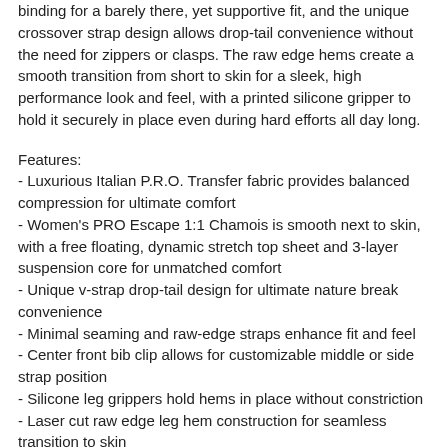binding for a barely there, yet supportive fit, and the unique crossover strap design allows drop-tail convenience without the need for zippers or clasps. The raw edge hems create a smooth transition from short to skin for a sleek, high performance look and feel, with a printed silicone gripper to hold it securely in place even during hard efforts all day long.
Features:
- Luxurious Italian P.R.O. Transfer fabric provides balanced compression for ultimate comfort
- Women's PRO Escape 1:1 Chamois is smooth next to skin, with a free floating, dynamic stretch top sheet and 3-layer suspension core for unmatched comfort
- Unique v-strap drop-tail design for ultimate nature break convenience
- Minimal seaming and raw-edge straps enhance fit and feel
- Center front bib clip allows for customizable middle or side strap position
- Silicone leg grippers hold hems in place without constriction
- Laser cut raw edge leg hem construction for seamless transition to skin
- BioViz reflective elements for low-light visibility
- 8.5" inseam